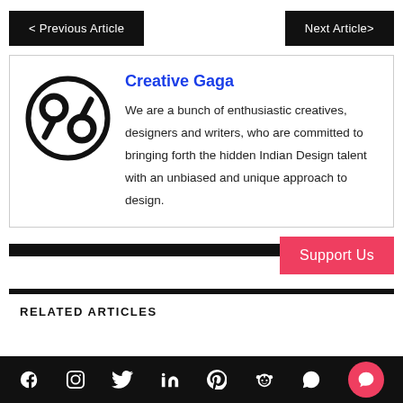< Previous Article    Next Article>
[Figure (logo): Creative Gaga logo — stylized circular mark with '96' letterforms in black]
Creative Gaga
We are a bunch of enthusiastic creatives, designers and writers, who are committed to bringing forth the hidden Indian Design talent with an unbiased and unique approach to design.
RELATED ARTICLES
Facebook  Instagram  Twitter  LinkedIn  Pinterest  Reddit  WhatsApp  Support Us